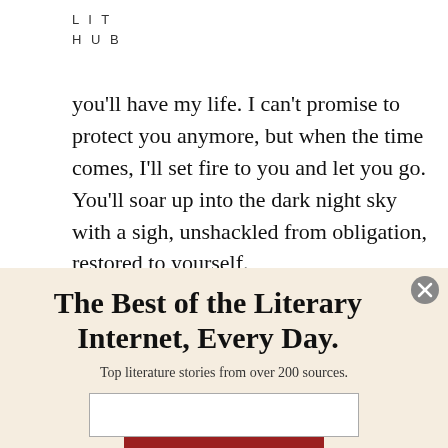LIT
HUB
you'll have my life. I can't promise to protect you anymore, but when the time comes, I'll set fire to you and let you go. You'll soar up into the dark night sky with a sigh, unshackled from obligation, restored to yourself.
The Best of the Literary Internet, Every Day.
Top literature stories from over 200 sources.
[Figure (other): Email input field and subscribe button for newsletter signup]